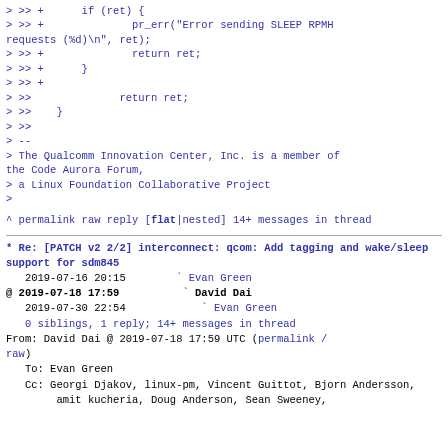> >> +      if (ret) {
> >> +              pr_err("Error sending SLEEP RPMH requests (%d)\n", ret);
> >> +              return ret;
> >> +      }
> >> +
> >>              return ret;
> >>    }
> >>
> --
> The Qualcomm Innovation Center, Inc. is a member of the Code Aurora Forum,
> a Linux Foundation Collaborative Project
>
^ permalink raw reply   [flat|nested] 14+ messages in thread
* Re: [PATCH v2 2/2] interconnect: qcom: Add tagging and wake/sleep support for sdm845
   2019-07-16 20:15        ` Evan Green
@ 2019-07-18 17:59          ` David Dai
   2019-07-30 22:54            ` Evan Green
   0 siblings, 1 reply; 14+ messages in thread
From: David Dai @ 2019-07-18 17:59 UTC (permalink / raw)
To: Evan Green
   Cc: Georgi Djakov, linux-pm, Vincent Guittot, Bjorn Andersson,
       amit kucheria, Doug Anderson, Sean Sweeney,